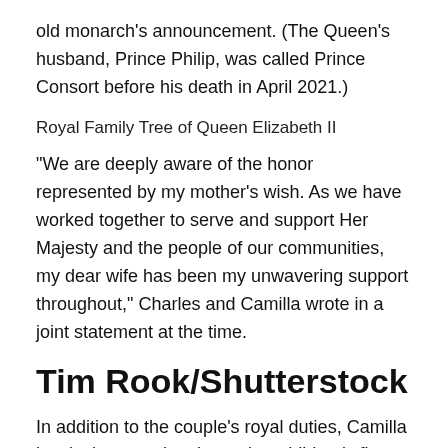old monarch’s announcement. (The Queen’s husband, Prince Philip, was called Prince Consort before his death in April 2021.)
Royal Family Tree of Queen Elizabeth II
“We are deeply aware of the honor represented by my mother’s wish. As we have worked together to serve and support Her Majesty and the people of our communities, my dear wife has been my unwavering support throughout,” Charles and Camilla wrote in a joint statement at the time.
Tim Rook/Shutterstock
In addition to the couple’s royal duties, Camilla is a loving grandmother to her children’s five toddlers. (She is also the grandmother of Charles’ grandchildren: Prince George, 8,